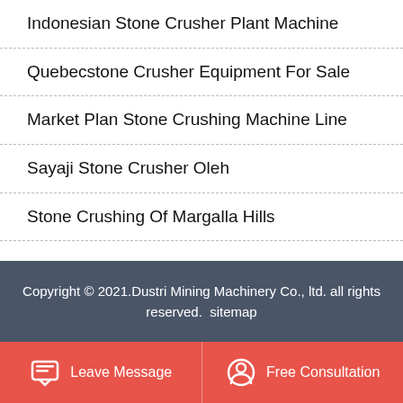Indonesian Stone Crusher Plant Machine
Quebecstone Crusher Equipment For Sale
Market Plan Stone Crushing Machine Line
Sayaji Stone Crusher Oleh
Stone Crushing Of Margalla Hills
Copyright © 2021.Dustri Mining Machinery Co., ltd. all rights reserved.  sitemap
Leave Message   Free Consultation